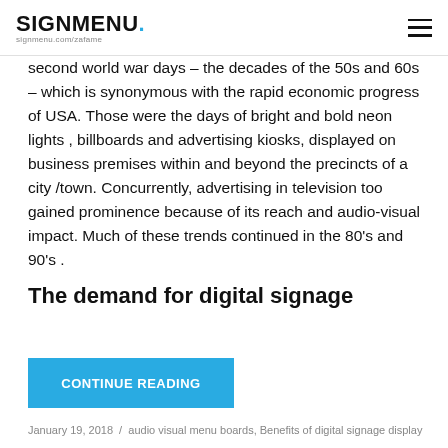SIGNMENU
second world war days – the decades of the 50s and 60s – which is synonymous with the rapid economic progress of USA. Those were the days of bright and bold neon lights , billboards and advertising kiosks, displayed on business premises within and beyond the precincts of a city /town. Concurrently, advertising in television too gained prominence because of its reach and audio-visual impact. Much of these trends continued in the 80's and 90's .
The demand for digital signage
CONTINUE READING
January 19, 2018  /  audio visual menu boards, Benefits of digital signage display